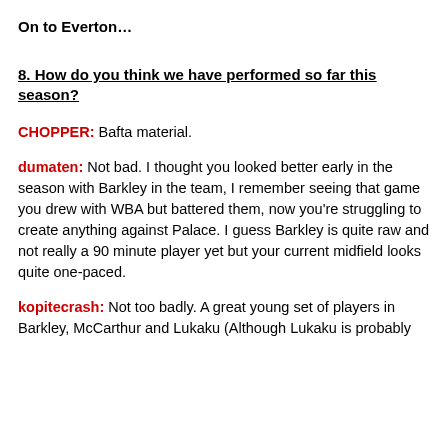On to Everton…
8. How do you think we have performed so far this season?
CHOPPER: Bafta material.
dumaten: Not bad. I thought you looked better early in the season with Barkley in the team, I remember seeing that game you drew with WBA but battered them, now you're struggling to create anything against Palace. I guess Barkley is quite raw and not really a 90 minute player yet but your current midfield looks quite one-paced.
kopitecrash: Not too badly. A great young set of players in Barkley, McCarthur and Lukaku (Although Lukaku is probably